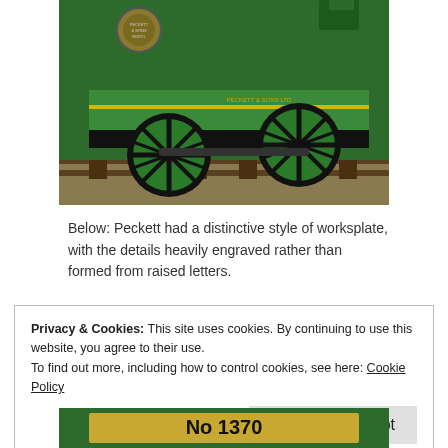[Figure (photo): Close-up photograph of a green steam locomotive showing its wheels and undercarriage on railway track. The locomotive is painted bright green with yellow trim and black details.]
Below: Peckett had a distinctive style of worksplate, with the details heavily engraved rather than formed from raised letters.
Privacy & Cookies: This site uses cookies. By continuing to use this website, you agree to their use.
To find out more, including how to control cookies, see here: Cookie Policy
[Figure (photo): Bottom portion of a green locomotive showing a worksplate/nameplate beginning with 'No 13...']